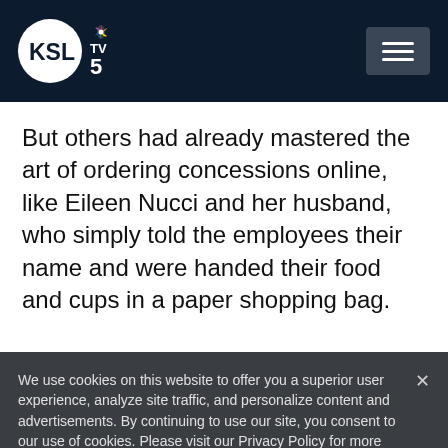KSL TV 5
But others had already mastered the art of ordering concessions online, like Eileen Nucci and her husband, who simply told the employees their name and were handed their food and cups in a paper shopping bag.
We use cookies on this website to offer you a superior user experience, analyze site traffic, and personalize content and advertisements. By continuing to use our site, you consent to our use of cookies. Please visit our Privacy Policy for more information.
Accept Cookies